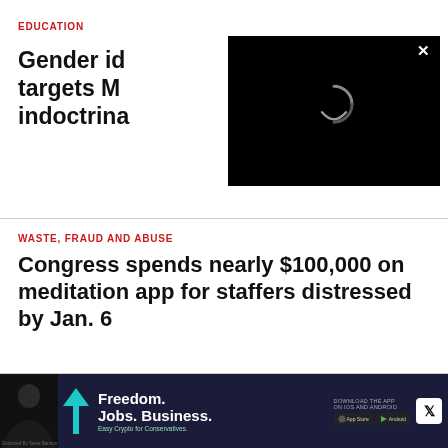EDUCATION
Gender id… targets M… indoctrina…
[Figure (screenshot): Black video overlay panel with a loading spinner (curved white arc) and an X close button in the top right corner]
WASTE, FRAUD AND ABUSE
Congress spends nearly $100,000 on meditation app for staffers distressed by Jan. 6
[Figure (illustration): Advertisement banner: dark navy background, man in black photo on left, teal check/arrow graphic, text 'Freedom. Jobs. Business. Easy Crypto for Conservatives.' with download app store badges and X logo on right. Endorsed by Steve Bannon.]